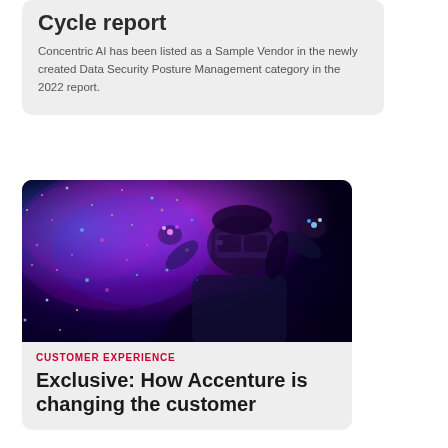Cycle report
Concentric AI has been listed as a Sample Vendor in the newly created Data Security Posture Management category in the 2022 report.
[Figure (photo): Woman wearing a VR headset with hands raised, surrounded by colorful neon particle effects in purple, pink, blue and green on a dark background]
CUSTOMER EXPERIENCE
Exclusive: How Accenture is changing the customer